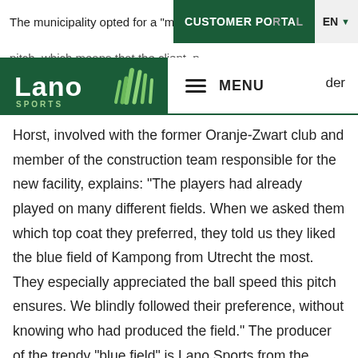The municipality opted for a "manage... pitch, which means that the client, n...
[Figure (logo): Lano Sports logo — white text 'Lano' with green background and grass/field graphic, 'SPORTS' subtitle]
MENU | EN
der Horst, involved with the former Oranje-Zwart club and member of the construction team responsible for the new facility, explains: "The players had already played on many different fields. When we asked them which top coat they preferred, they told us they liked the blue field of Kampong from Utrecht the most. They especially appreciated the ball speed this pitch ensures. We blindly followed their preference, without knowing who had produced the field." The producer of the trendy "blue field" is Lano Sports from the Flemish city of Harelbeke. This producer of pitches for football, hockey, tennis and other sports is relatively unknown in the Netherlands. However, various sports